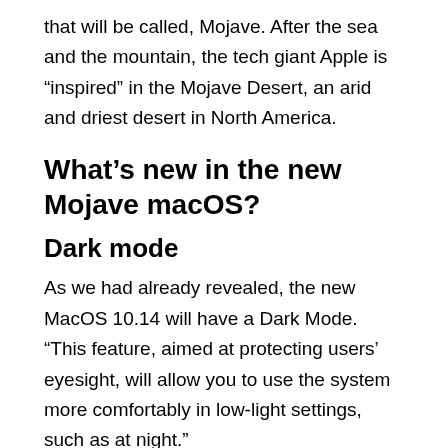that will be called, Mojave. After the sea and the mountain, the tech giant Apple is “inspired” in the Mojave Desert, an arid and driest desert in North America.
What’s new in the new Mojave macOS?
Dark mode
As we had already revealed, the new MacOS 10.14 will have a Dark Mode. “This feature, aimed at protecting users’ eyesight, will allow you to use the system more comfortably in low-light settings, such as at night.”